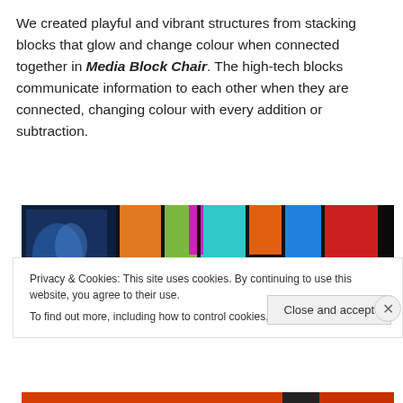We created playful and vibrant structures from stacking blocks that glow and change colour when connected together in Media Block Chair. The high-tech blocks communicate information to each other when they are connected, changing colour with every addition or subtraction.
[Figure (photo): A dark photo showing colorful illuminated blocks in a dark room. The left side shows a blue-lit screen with a figure, and the right side shows stacked glowing blocks in orange, green, cyan, magenta, blue, red, and other colors.]
Privacy & Cookies: This site uses cookies. By continuing to use this website, you agree to their use.
To find out more, including how to control cookies, see here: Cookie Policy
Close and accept